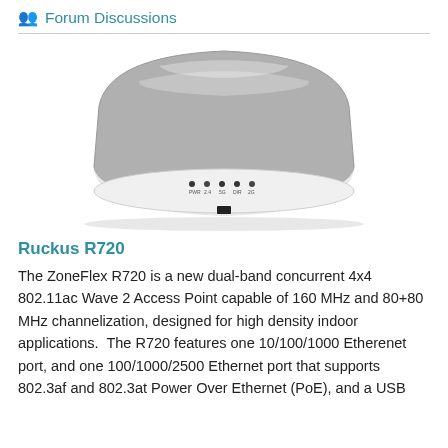Forum Discussions
[Figure (photo): Ruckus R720 wireless access point hardware device, shown from a front-left angle. The device is white/silver with a rounded rectangular shape and has small LED indicator lights on the front face.]
Ruckus R720
The ZoneFlex R720 is a new dual-band concurrent 4x4 802.11ac Wave 2 Access Point capable of 160 MHz and 80+80 MHz channelization, designed for high density indoor applications. The R720 features one 10/100/1000 Etherenet port, and one 100/1000/2500 Ethernet port that supports 802.3af and 802.3at Power Over Ethernet (PoE), and a USB